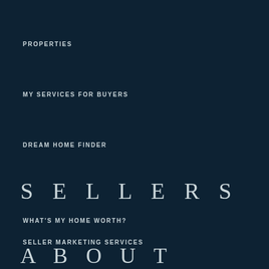PROPERTIES
MY SERVICES FOR BUYERS
DREAM HOME FINDER
SELLERS
WHAT'S MY HOME WORTH?
SELLER MARKETING SERVICES
ABOUT